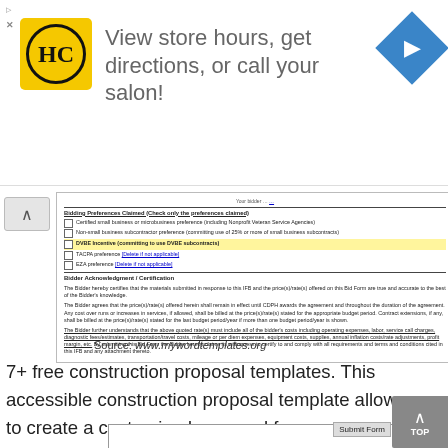[Figure (screenshot): Advertisement banner for a salon/hair care business (HC logo) with text 'View store hours, get directions, or call your salon!' and a blue navigation diamond icon]
[Figure (screenshot): Scanned government bid form showing Bidding Preferences Claimed section with checkboxes, and Bidder Acknowledgement/Certification text]
Source: www.mywordtemplates.org
7+ free construction proposal templates. This accessible construction proposal template allows you to create a customized proposal for your construction project.
[Figure (screenshot): Bottom preview of a BID FORM OF PROPOSAL document from Department of Procurement, Contracting & Finance with a Submit Form button]